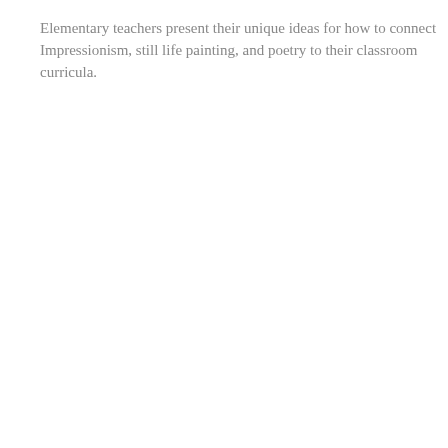Elementary teachers present their unique ideas for how to connect Impressionism, still life painting, and poetry to their classroom curricula.